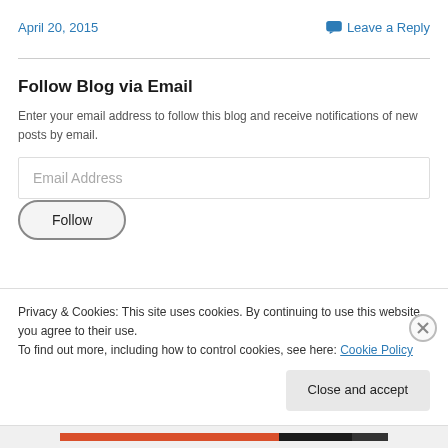April 20, 2015
Leave a Reply
Follow Blog via Email
Enter your email address to follow this blog and receive notifications of new posts by email.
Email Address
Follow
Privacy & Cookies: This site uses cookies. By continuing to use this website, you agree to their use. To find out more, including how to control cookies, see here: Cookie Policy
Close and accept